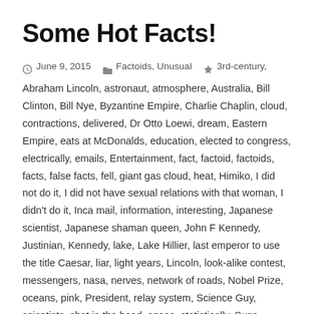Some Hot Facts!
June 9, 2015   Factoids, Unusual   3rd-century, Abraham Lincoln, astronaut, atmosphere, Australia, Bill Clinton, Bill Nye, Byzantine Empire, Charlie Chaplin, cloud, contractions, delivered, Dr Otto Loewi, dream, Eastern Empire, eats at McDonalds, education, elected to congress, electrically, emails, Entertainment, fact, factoid, factoids, facts, false facts, fell, giant gas cloud, heat, Himiko, I did not do it, I did not have sexual relations with that woman, I didn't do it, Inca mail, information, interesting, Japanese scientist, Japanese shaman queen, John F Kennedy, Justinian, Kennedy, lake, Lake Hillier, last emperor to use the title Caesar, liar, light years, Lincoln, look-alike contest, messengers, nasa, nerves, network of roads, Nobel Prize, oceans, pink, President, relay system, Science Guy, scientists, shot in the head, space, statistically, Suns, survived, transmitted chemically, transmitted information, true, truthful statement, Western Roman Empire, world's population